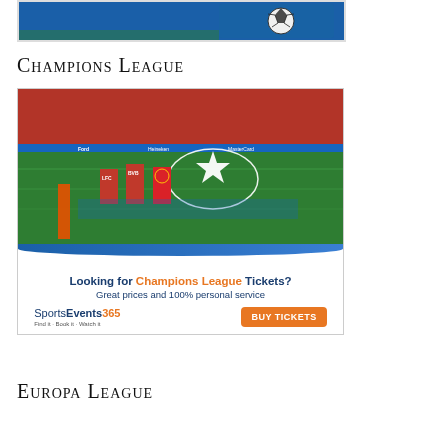[Figure (photo): Top banner with soccer/football scene on blue background]
Champions League
[Figure (photo): Champions League advertising banner: stadium photo with Champions League star logo on pitch, flags being held, with text 'Looking for Champions League Tickets? Great prices and 100% personal service' and SportsEvents365 logo with BUY TICKETS orange button]
Europa League